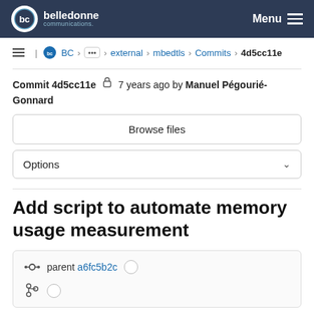belledonne communications — Menu
BC > ... > external > mbedtls > Commits > 4d5cc11e
Commit 4d5cc11e  7 years ago by Manuel Pégourié-Gonnard
Browse files
Options
Add script to automate memory usage measurement
parent a6fc5b2c